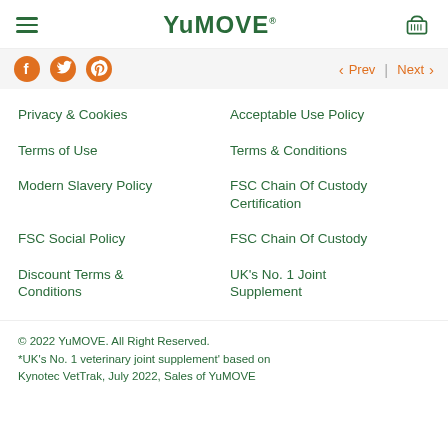YuMOVE
Privacy & Cookies
Acceptable Use Policy
Terms of Use
Terms & Conditions
Modern Slavery Policy
FSC Chain Of Custody Certification
FSC Social Policy
FSC Chain Of Custody
Discount Terms & Conditions
UK's No. 1 Joint Supplement
© 2022 YuMOVE. All Right Reserved.
*UK's No. 1 veterinary joint supplement' based on Kynotec VetTrak, July 2022, Sales of YuMOVE